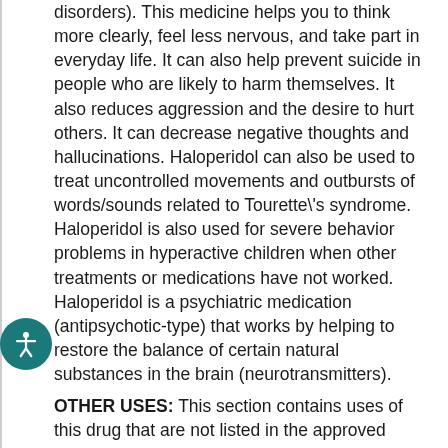disorders). This medicine helps you to think more clearly, feel less nervous, and take part in everyday life. It can also help prevent suicide in people who are likely to harm themselves. It also reduces aggression and the desire to hurt others. It can decrease negative thoughts and hallucinations. Haloperidol can also be used to treat uncontrolled movements and outbursts of words/sounds related to Tourette's syndrome. Haloperidol is also used for severe behavior problems in hyperactive children when other treatments or medications have not worked. Haloperidol is a psychiatric medication (antipsychotic-type) that works by helping to restore the balance of certain natural substances in the brain (neurotransmitters). OTHER USES: This section contains uses of this drug that are not listed in the approved professional labeling for the drug but that may be prescribed by your health care professional. Use this drug for a condition that is listed in this section only if it has been so prescribed by your health care professional. Sometimes, this drug may be used for short periods of time by hospitalized patients who have severe behavior problems or